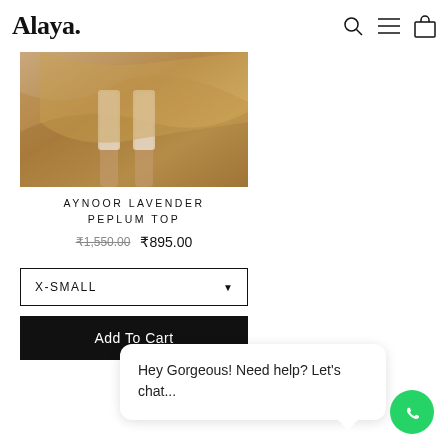Alaya.
[Figure (photo): Product photo showing lower body of a model wearing a lavender peplum top with a golden/tan sheer fabric draped around, standing on a matching golden background]
AYNOOR LAVENDER PEPLUM TOP
₹1,550.00  ₹895.00
X-SMALL
Add To Cart
Hey Gorgeous! Need help? Let's chat...